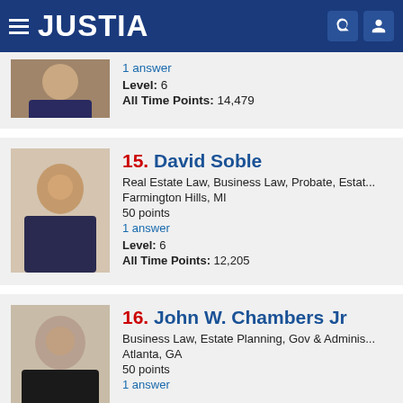JUSTIA
1 answer
Level: 6
All Time Points: 14,479
15. David Soble
Real Estate Law, Business Law, Probate, Estat...
Farmington Hills, MI
50 points
1 answer
Level: 6
All Time Points: 12,205
16. John W. Chambers Jr
Business Law, Estate Planning, Gov & Adminis...
Atlanta, GA
50 points
1 answer